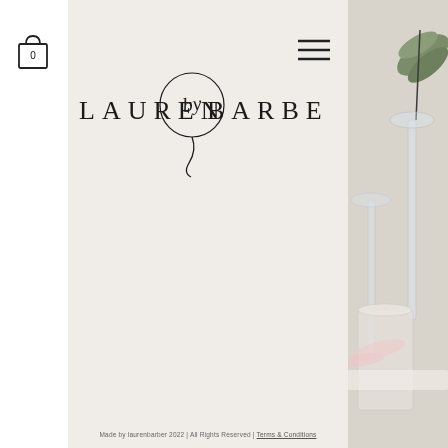[Figure (logo): Lauren by Barber brand logo with stylized script text and circular handwritten 'by' element]
[Figure (photo): Partial photo on the right side showing glassware, pink floral elements, a green leaf, and neutral table setting]
Made by laurenbarber 2022 | All Rights Reserved | Terms & Conditions